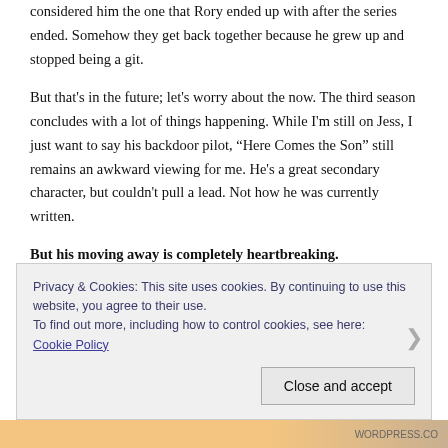considered him the one that Rory ended up with after the series ended. Somehow they get back together because he grew up and stopped being a git.
But that's in the future; let's worry about the now. The third season concludes with a lot of things happening. While I'm still on Jess, I just want to say his backdoor pilot, “Here Comes the Son” still remains an awkward viewing for me. He's a great secondary character, but couldn't pull a lead. Not how he was currently written.
But his moving away is completely heartbreaking.
Privacy & Cookies: This site uses cookies. By continuing to use this website, you agree to their use.
To find out more, including how to control cookies, see here:
Cookie Policy

Close and accept